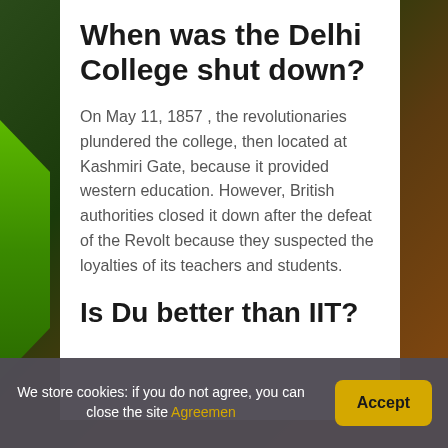When was the Delhi College shut down?
On May 11, 1857 , the revolutionaries plundered the college, then located at Kashmiri Gate, because it provided western education. However, British authorities closed it down after the defeat of the Revolt because they suspected the loyalties of its teachers and students.
Is Du better than IIT?
We store cookies: if you do not agree, you can close the site Agreemen